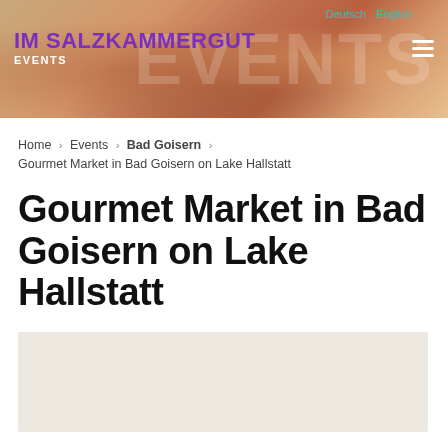[Figure (photo): Website header banner with crowd photo background, 'IM SALZKAMMERGUT EVENTS' logo in purple/white on left, large semi-transparent 'EVENTS' text in background, hamburger menu icon on right, language links 'Deutsch' and 'English' top right]
Home > Events > Bad Goisern > Gourmet Market in Bad Goisern on Lake Hallstatt
Gourmet Market in Bad Goisern on Lake Hallstatt
[Figure (map): Map placeholder area showing light beige/tan background, likely a geographic map of the Bad Goisern area]